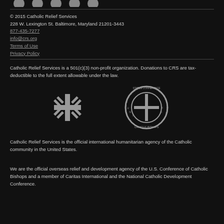[Figure (logo): Row of circular social media icon logos (partially visible at top)]
© 2015 Catholic Relief Services
228 W. Lexington St. Baltimore, Maryland 21201-3443
877-435-7277
info@crs.org
Terms of Use
Privacy Policy
Catholic Relief Services is a 501(c)(3) non-profit organization. Donations to CRS are tax-deductible to the full extent allowable under the law.
[Figure (logo): Catholic Relief Services sunburst cross logo (gray on black)]
[Figure (logo): United States Conference of Catholic Bishops circular seal logo (gray on black)]
Catholic Relief Services is the official international humanitarian agency of the Catholic community in the United States.
We are the official overseas relief and development agency of the U.S. Conference of Catholic Bishops and a member of Caritas International and the National Catholic Development Conference.